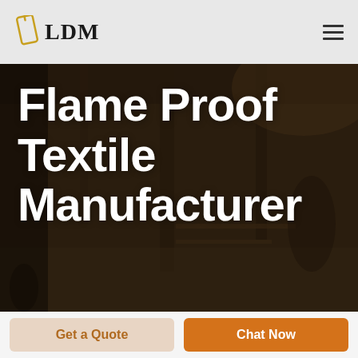LDM
[Figure (photo): Dark factory/warehouse interior with workers, used as hero background image overlay with large white text reading 'Flame Proof Textile Manufacturer']
Flame Proof Textile Manufacturer
Get a Quote
Chat Now